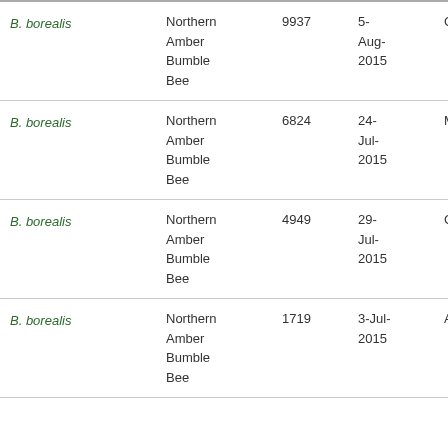| Species | Common Name | Number | Date | Location |
| --- | --- | --- | --- | --- |
| B. borealis | Northern Amber Bumble Bee | 9937 | 5-Aug-2015 | Gh |
| B. borealis | Northern Amber Bumble Bee | 6824 | 24-Jul-2015 | Mh |
| B. borealis | Northern Amber Bumble Bee | 4949 | 29-Jul-2015 | Cs |
| B. borealis | Northern Amber Bumble Bee | 1719 | 3-Jul-2015 | AM |